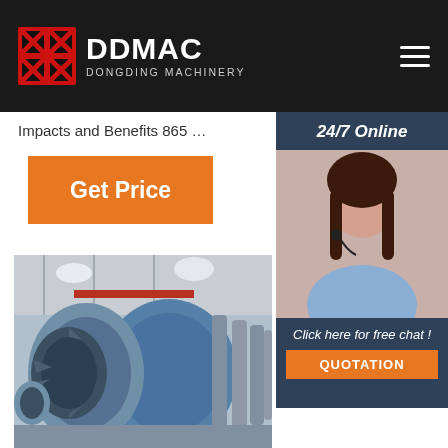DDMAC DONGDING MACHINERY
Impacts and Benefits 865 …
[Figure (illustration): Orange 'Get Price' button]
[Figure (photo): Customer service representative with headset, 24/7 Online sidebar with QUOTATION button]
[Figure (photo): Industrial rotary drum machinery in factory setting, blue cylindrical drum with fins]